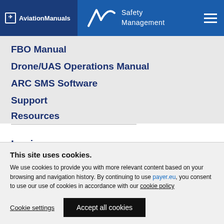AviationManuals | ARC Safety Management
FBO Manual
Drone/UAS Operations Manual
ARC SMS Software
Support
Resources
Login
This site uses cookies. We use cookies to provide you with more relevant content based on your browsing and navigation history. By continuing to use payer.eu, you consent to use our use of cookies in accordance with our cookie policy
Cookie settings | Accept all cookies